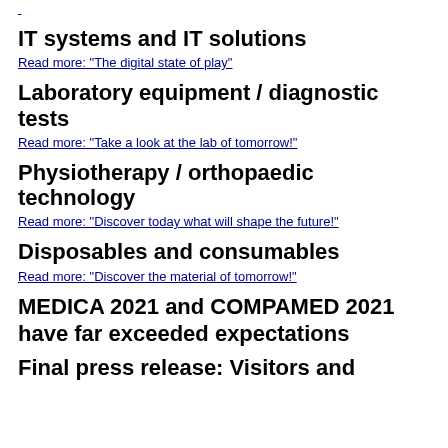Read more: (link at top)
IT systems and IT solutions
Read more: "The digital state of play"
Laboratory equipment / diagnostic tests
Read more: "Take a look at the lab of tomorrow!"
Physiotherapy / orthopaedic technology
Read more: "Discover today what will shape the future!"
Disposables and consumables
Read more: "Discover the material of tomorrow!"
MEDICA 2021 and COMPAMED 2021 have far exceeded expectations
Final press release: Visitors and